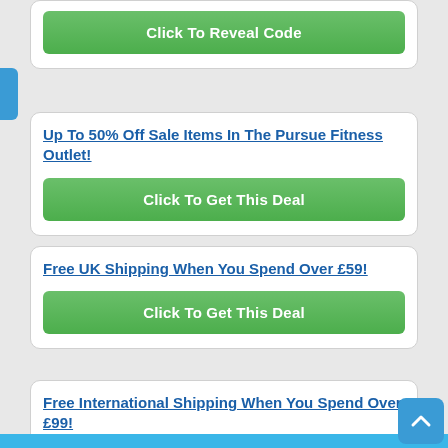[Figure (screenshot): Green 'Click To Reveal Code' button inside a white rounded card]
Up To 50% Off Sale Items In The Pursue Fitness Outlet!
[Figure (screenshot): Green 'Click To Get This Deal' button]
Free UK Shipping When You Spend Over £59!
[Figure (screenshot): Green 'Click To Get This Deal' button]
Free International Shipping When You Spend Over £99!
[Figure (screenshot): Partially visible green 'Click To Get This Deal' button at bottom]